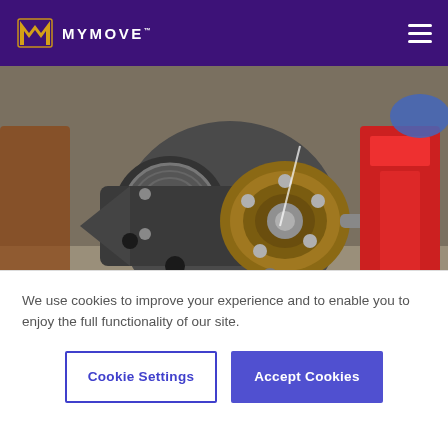MYMOVE
[Figure (photo): Close-up photo of a car wheel hub/axle assembly being worked on in a garage, with a red hydraulic floor jack visible in the background and a blue gloved hand.]
We use cookies to improve your experience and to enable you to enjoy the full functionality of our site.
Cookie Settings
Accept Cookies